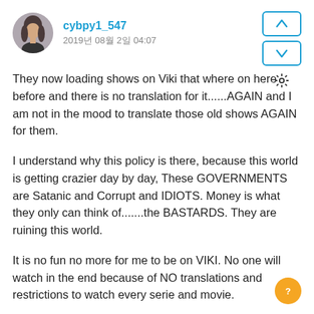[Figure (photo): Round avatar photo of a woman with long hair]
cybpy1_547
2019년 08월 2일 04:07
They now loading shows on Viki that where on here before and there is no translation for it......AGAIN and I am not in the mood to translate those old shows AGAIN for them.

I understand why this policy is there, because this world is getting crazier day by day. These GOVERNMENTS are Satanic and Corrupt and IDIOTS. Money is what they only can think of.......the BASTARDS. They are ruining this world.

It is no fun no more for me to be on VIKI. No one will watch in the end because of NO translations and restrictions to watch every serie and movie.